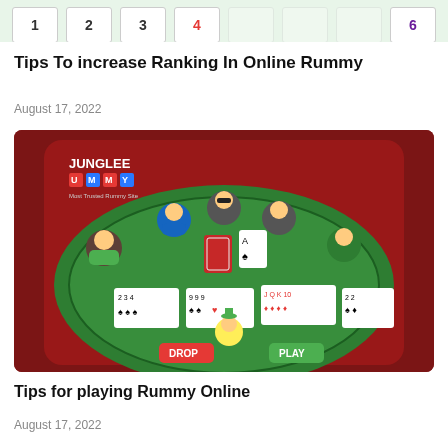[Figure (screenshot): Partial view of a card game screenshot showing card tiles on a green background]
Tips To increase Ranking In Online Rummy
August 17, 2022
[Figure (screenshot): JungleeRummy app screenshot showing a rummy table with players and cards including sets 234, 999, JQK10, 22 and DROP/PLAY buttons]
Tips for playing Rummy Online
August 17, 2022